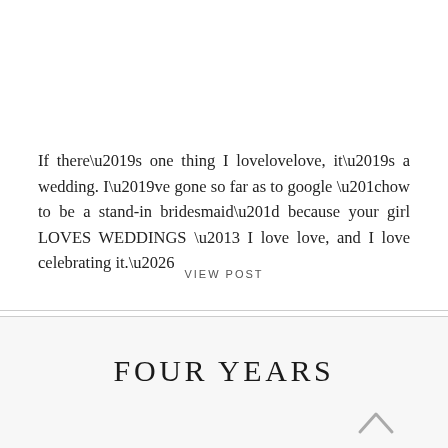If there’s one thing I lovelovelove, it’s a wedding. I’ve gone so far as to google “how to be a stand-in bridesmaid” because your girl LOVES WEDDINGS – I love love, and I love celebrating it.…
VIEW POST
FOUR YEARS